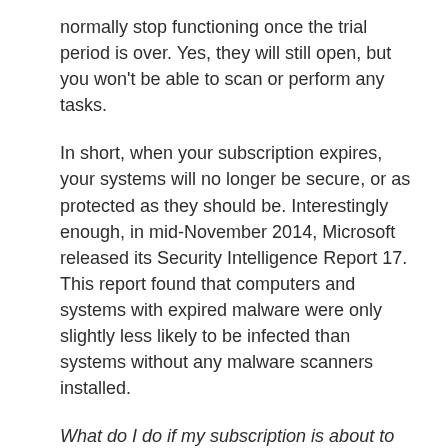normally stop functioning once the trial period is over. Yes, they will still open, but you won't be able to scan or perform any tasks.
In short, when your subscription expires, your systems will no longer be secure, or as protected as they should be. Interestingly enough, in mid-November 2014, Microsoft released its Security Intelligence Report 17. This report found that computers and systems with expired malware were only slightly less likely to be infected than systems without any malware scanners installed.
What do I do if my subscription is about to expire?